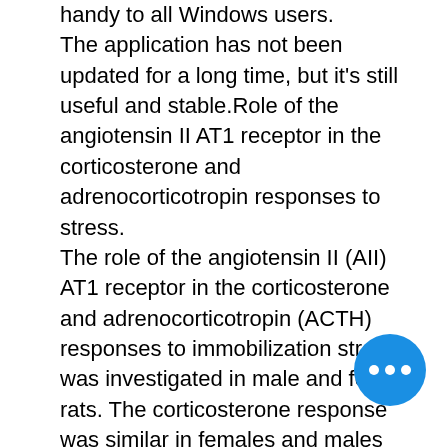handy to all Windows users. The application has not been updated for a long time, but it's still useful and stable.Role of the angiotensin II AT1 receptor in the corticosterone and adrenocorticotropin responses to stress. The role of the angiotensin II (AII) AT1 receptor in the corticosterone and adrenocorticotropin (ACTH) responses to immobilization stress was investigated in male and female rats. The corticosterone response was similar in females and males after osmotic minipump implantation with vehicle. The corticosterone response to stress was significantly blunted in females treated with the nonselective angiotensin receptor antagonist, DuP 753, and the AT1 receptor-selective antagonist, losartan. In the absence of exogenous AII, the corticosterone response to immobilization stress was not different between vehicle and DuP 753 treated animals. In contrast, the